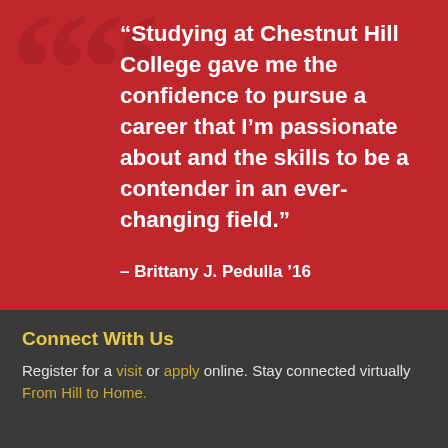“Studying at Chestnut Hill College gave me the confidence to pursue a career that I’m passionate about and the skills to be a contender in an ever-changing field.”
- Brittany J. Pedulla ’16
Connect With Us
Register for a visit or apply online. Stay connected virtually From Hill to Home.